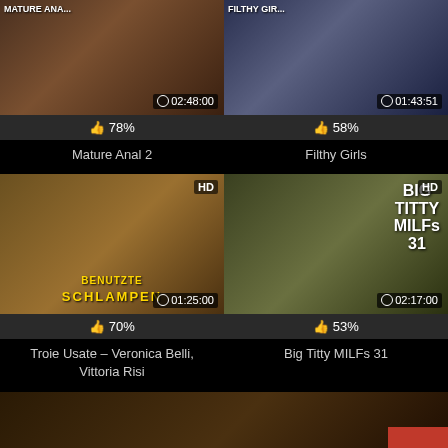[Figure (screenshot): Mature Anal 2 video thumbnail with duration 02:48:00]
👍 78%
Mature Anal 2
[Figure (screenshot): Filthy Girls video thumbnail with duration 01:43:51]
👍 58%
Filthy Girls
[Figure (screenshot): Troie Usate – Veronica Belli, Vittoria Risi video thumbnail HD with duration 01:25:00, text BENUTZTE SCHLAMPEN]
👍 70%
Troie Usate – Veronica Belli, Vittoria Risi
[Figure (screenshot): Big Titty MILFs 31 video thumbnail HD with duration 02:17:00]
👍 53%
Big Titty MILFs 31
[Figure (screenshot): Bottom video thumbnail with AD label and back-to-top button]